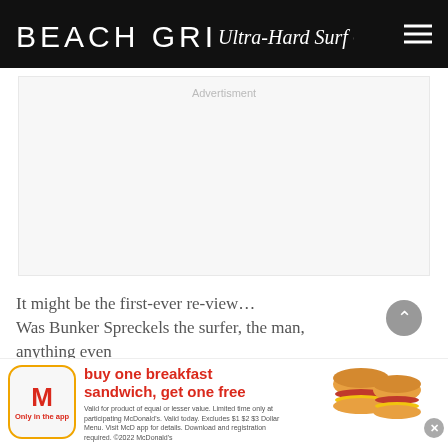BEACH GRIT Ultra-Hard Surf Candy
[Figure (other): Advertisement placeholder box with 'Advertisment' label text centered at top]
It might be the first-ever review… Was Bunker Spreckels the surfer, the man, anything even close to the legend?
[Figure (infographic): McDonald's promotional banner: buy one breakfast sandwich, get one free. Only in the app. Fine print: Valid for product of equal or lesser value. Limited time only at participating McDonald's. Valid today. Excludes $1 $2 $3 Dollar Menu. Visit McD app for details. Download and registration required. ©2022 McDonald's. Image of two breakfast sandwiches shown.]